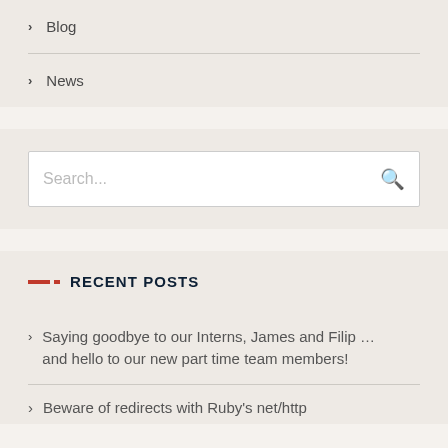Blog
News
[Figure (other): Search input box with placeholder text 'Search...' and a magnifying glass icon on the right]
RECENT POSTS
Saying goodbye to our Interns, James and Filip … and hello to our new part time team members!
Beware of redirects with Ruby's net/http